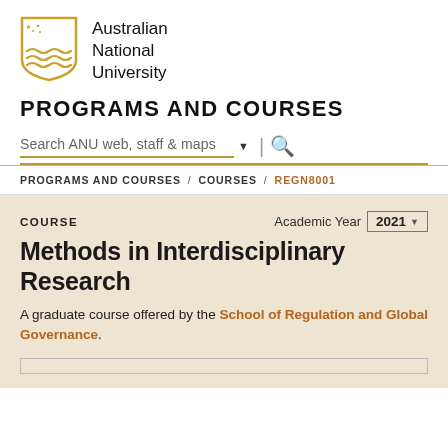[Figure (logo): Australian National University crest/shield logo in gold and black]
Australian
National
University
PROGRAMS AND COURSES
Search ANU web, staff & maps
PROGRAMS AND COURSES / COURSES / REGN8001
COURSE
Academic Year 2021
Methods in Interdisciplinary Research
A graduate course offered by the School of Regulation and Global Governance.